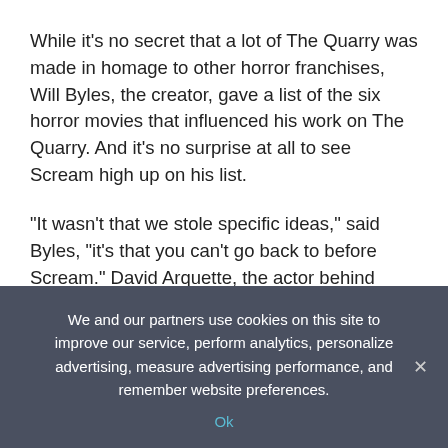While it's no secret that a lot of The Quarry was made in homage to other horror franchises, Will Byles, the creator, gave a list of the six horror movies that influenced his work on The Quarry. And it's no surprise at all to see Scream high up on his list.
"It wasn't that we stole specific ideas," said Byles, "it's that you can't go back to before Scream." David Arquette, the actor behind Chris Hackett, has a knack for playing bumbling cops or people of authority, like officer Dewey Riley in the Scream franchise. And he thinks Supermassive would be a great choice for a Scream game, so if a mainstay in the genre like Arquette gives his
We and our partners use cookies on this site to improve our service, perform analytics, personalize advertising, measure advertising performance, and remember website preferences.
Ok